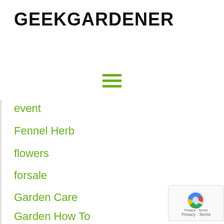GEEKGARDENER
[Figure (other): Hamburger menu icon with three green horizontal bars]
event
Fennel Herb
flowers
forsale
Garden Care
Garden How To
gardening
gardening-event